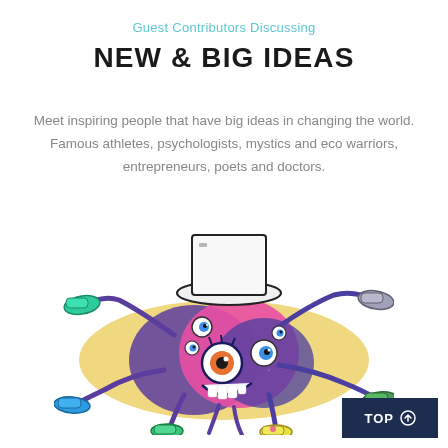Guest Contributors Discussing
NEW & BIG IDEAS
Meet inspiring people that have big ideas in changing the world. Famous athletes, psychologists, mystics and eco warriors, entrepreneurs, poets and doctors.
[Figure (illustration): Colorful cartoon illustration of a multi-eyed, multi-legged creature wearing a top hat, with sneakers on its legs, on a yellow oval background with paint splatters]
TOP ↑